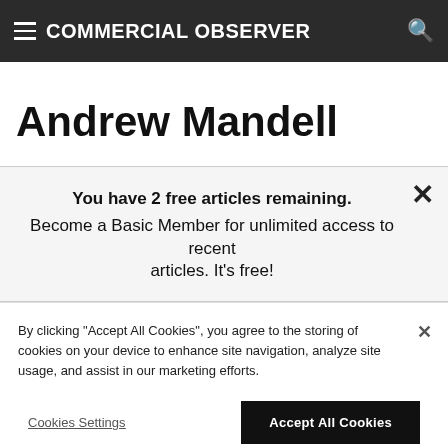COMMERCIAL OBSERVER
Andrew Mandell
You have 2 free articles remaining. Become a Basic Member for unlimited access to recent articles. It's free!
By clicking "Accept All Cookies", you agree to the storing of cookies on your device to enhance site navigation, analyze site usage, and assist in our marketing efforts.
Cookies Settings
Accept All Cookies